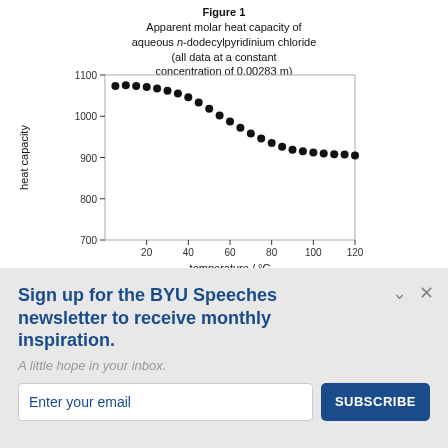Figure 1
Apparent molar heat capacity of aqueous n-dodecylpyridinium chloride (all data at a constant concentration of 0.00283 m)
[Figure (continuous-plot): Line/scatter plot of apparent molar heat capacity vs temperature. Y-axis: heat capacity, ranging from 700 to 1100. X-axis: temperature / °C, ranging from 0 to 120. Data points (filled circles) show a decreasing trend from ~1075 at ~5°C to ~905 at ~120°C.]
Sign up for the BYU Speeches newsletter to receive monthly inspiration.
A little hope in your inbox.